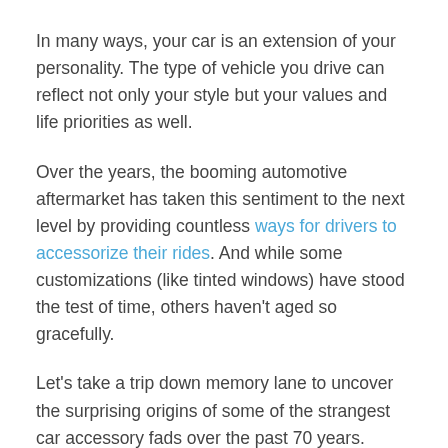In many ways, your car is an extension of your personality. The type of vehicle you drive can reflect not only your style but your values and life priorities as well.
Over the years, the booming automotive aftermarket has taken this sentiment to the next level by providing countless ways for drivers to accessorize their rides. And while some customizations (like tinted windows) have stood the test of time, others haven't aged so gracefully.
Let's take a trip down memory lane to uncover the surprising origins of some of the strangest car accessory fads over the past 70 years.